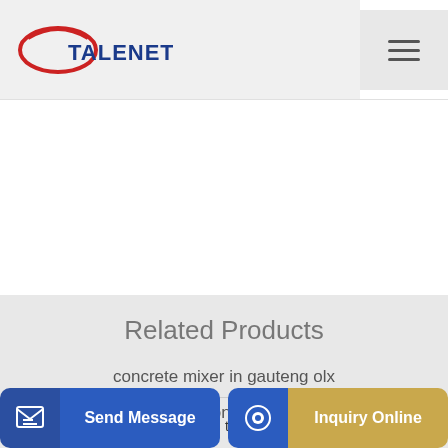TALENET
Related Products
concrete mixer in gauteng olx
40 cub self loader concrete mixer to russia
Send Message
Inquiry Online